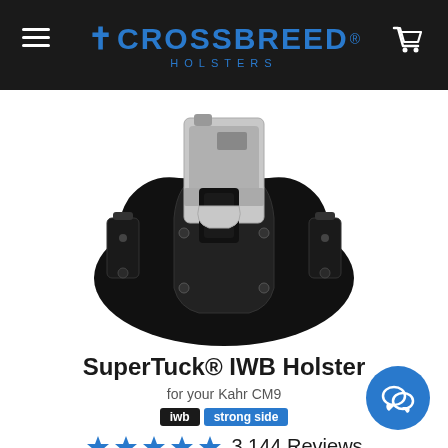CrossBreed Holsters
[Figure (photo): CrossBreed SuperTuck IWB holster with a Kahr CM9 pistol inserted, showing black leather backer and Kydex shell with belt clips]
SuperTuck® IWB Holster
for your Kahr CM9
iwb  strong side
★★★★★ 3,144 Reviews
From: $75.95